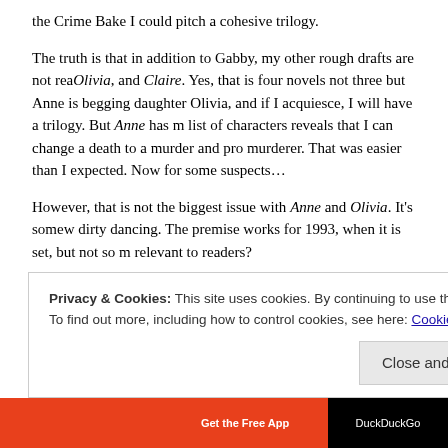the Crime Bake I could pitch a cohesive trilogy.
The truth is that in addition to Gabby, my other rough drafts are not rea... Olivia, and Claire. Yes, that is four novels not three but Anne is begging... daughter Olivia, and if I acquiesce, I will have a trilogy. But Anne has m... list of characters reveals that I can change a death to a murder and pro... murderer. That was easier than I expected. Now for some suspects…
However, that is not the biggest issue with Anne and Olivia. It's somew... dirty dancing. The premise works for 1993, when it is set, but not so m... relevant to readers?
Claire is next. She has some flexibility as to when she takes place but ... aging the longer she waits. Luckily, she is endowed with a murder, mu... And a man in the attic is timeless.
Privacy & Cookies: This site uses cookies. By continuing to use this website, you agree to their use. To find out more, including how to control cookies, see here: Cookie Policy
Close and accept